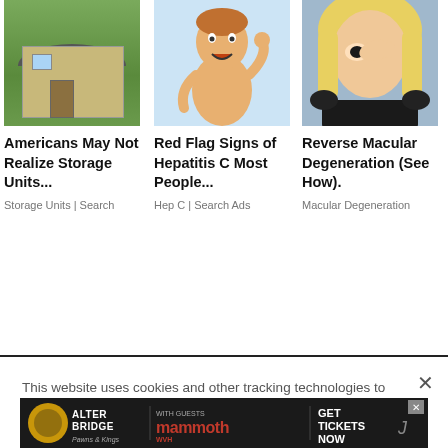[Figure (photo): Photo of a storage shed (gambrel roof) on a grass lawn]
Americans May Not Realize Storage Units...
Storage Units | Search
[Figure (illustration): Cartoon illustration of a person scratching their back]
Red Flag Signs of Hepatitis C Most People...
Hep C | Search Ads
[Figure (photo): Photo of a blonde woman rubbing her eye]
Reverse Macular Degeneration (See How).
Macular Degeneration
This website uses cookies and other tracking technologies to enhance user experience and to analyze performance and traffic on our website. Information about your use of our site may also be shared with social media, advertising, retail and analytics providers and partners. Privacy Policy
[Figure (photo): Alter Bridge advertisement banner with mammoth logo - GET TICKETS NOW]